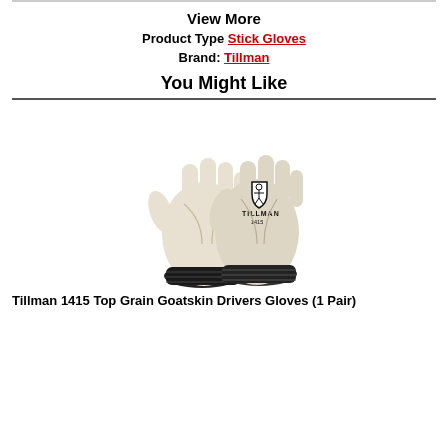View More
Product Type: Stick Gloves
Brand: Tillman
You Might Like
[Figure (photo): Tillman 1415 Top Grain Goatskin Drivers Gloves - a pair of light cream/beige leather work gloves with black knit wrist cuff, showing the Tillman brand logo and model number 1415 on the back of the glove.]
Tillman 1415 Top Grain Goatskin Drivers Gloves (1 Pair)